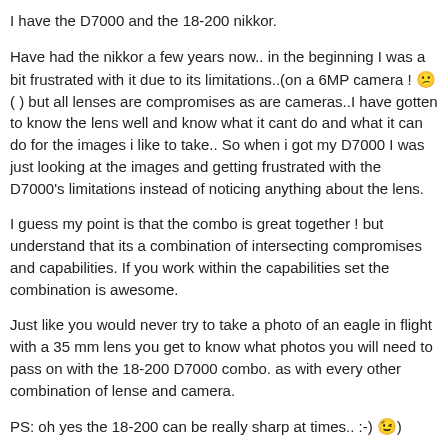I have the D7000 and the 18-200 nikkor.
Have had the nikkor a few years now.. in the beginning I was a bit frustrated with it due to its limitations..(on a 6MP camera ! 😕(  )  but all lenses are compromises as are cameras..I have gotten to know the lens well and know what it cant do and what it can do for the images i like to take.. So when i got my D7000 I was just looking at the images and getting frustrated with the D7000's limitations instead of noticing anything about the lens.
I guess my point is that the combo is great together ! but understand that its a combination of intersecting compromises and capabilities. If you work within the capabilities set the combination is awesome.
Just like you would never try to take a photo of an eagle in flight with a 35 mm lens you get to know what photos you will need to pass on with the 18-200 D7000 combo.  as with every other combination of lense and camera.
PS: oh yes the 18-200 can be really sharp at times.. :-) 😉)
Post edited by heartyfisher on January 2013